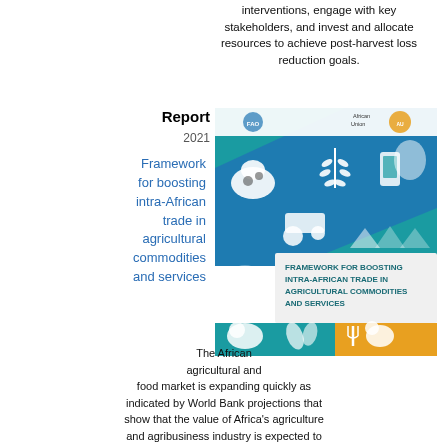interventions, engage with key stakeholders, and invest and allocate resources to achieve post-harvest loss reduction goals.
Report
2021
Framework for boosting intra-African trade in agricultural commodities and services
[Figure (illustration): Book cover for 'Framework for Boosting Intra-African Trade in Agricultural Commodities and Services' published by FAO and African Union in 2021, featuring colorful icons of agricultural items including a cow, wheat, mobile phone, tractor, and livestock on a teal/blue/orange background.]
The African agricultural and food market is expanding quickly as indicated by World Bank projections that show that the value of Africa's agriculture and agribusiness industry is expected to more than triple to reach USD 1 trillion by 2030, compared to 2010 (World Bank,